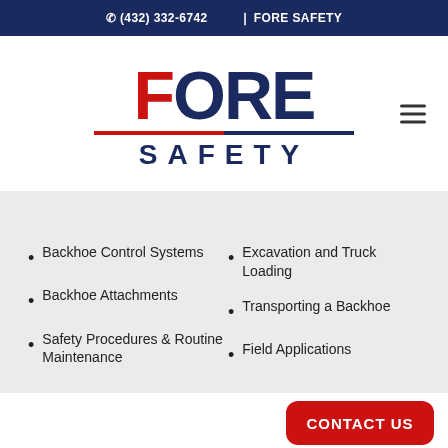(432) 332-6742   FORE SAFETY
[Figure (logo): Fore Safety company logo with red F and dark blue ORE text, horizontal divider line, and FORE SAFETY text]
Backhoe Control Systems
Backhoe Attachments
Safety Procedures & Routine Maintenance
Excavation and Truck Loading
Transporting a Backhoe
Field Applications